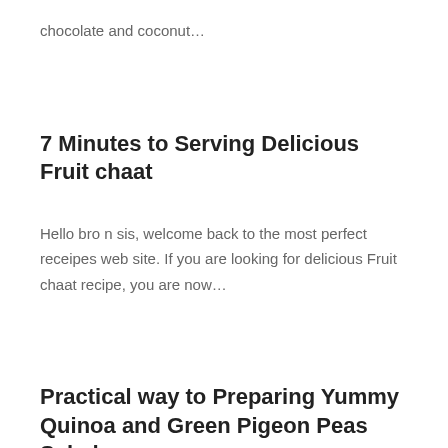chocolate and coconut…
7 Minutes to Serving Delicious Fruit chaat
Hello bro n sis, welcome back to the most perfect receipes web site. If you are looking for delicious Fruit chaat recipe, you are now…
Practical way to Preparing Yummy Quinoa and Green Pigeon Peas Salad
Greetings to everyone out there, back with us in the most interesting receipes page. If you are searching for yummy Quinoa and Green Pigeon Peas…
Super Easy Way to Preparing Perfect